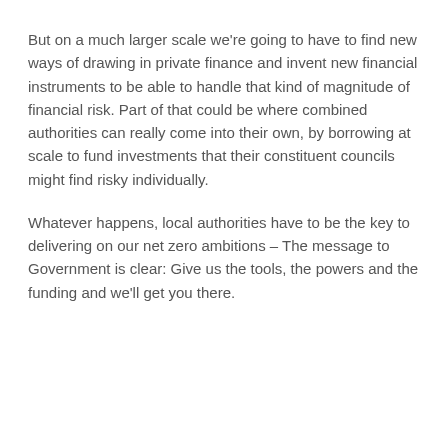But on a much larger scale we're going to have to find new ways of drawing in private finance and invent new financial instruments to be able to handle that kind of magnitude of financial risk. Part of that could be where combined authorities can really come into their own, by borrowing at scale to fund investments that their constituent councils might find risky individually.
Whatever happens, local authorities have to be the key to delivering on our net zero ambitions – The message to Government is clear: Give us the tools, the powers and the funding and we'll get you there.
< Previous News   Next News >
The LGA Labour Group exists to fight the corner for Labour councillors at a national level, both within the cross-party Local Government Association and with the Labour Party at Westminster. The Group provide a strong voice for Labour councillors and act as a platform for ideas and innovation for all those committed to an